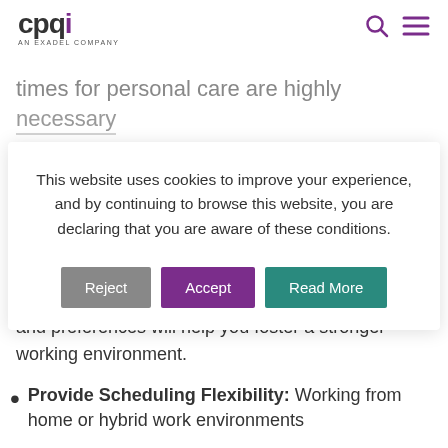[Figure (logo): cpqi AN EXADEL COMPANY logo with purple 'i' and search/menu icons]
times for personal care are highly necessary
This website uses cookies to improve your experience, and by continuing to browse this website, you are declaring that you are aware of these conditions.
and preferences will help you foster a stronger working environment.
Provide Scheduling Flexibility: Working from home or hybrid work environments